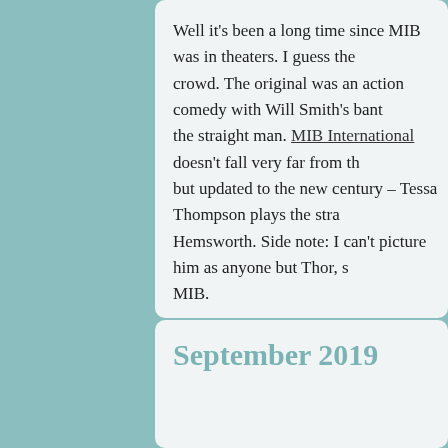Well it's been a long time since MIB was in theaters. I guess the crowd. The original was an action comedy with Will Smith's bant the straight man. MIB International doesn't fall very far from th but updated to the new century – Tessa Thompson plays the stra Hemsworth. Side note: I can't picture him as anyone but Thor, s MIB.
The same futuristic view of the world and aliens blending in is sti Wars movies feel like the same movie with different characters a felt like. Not a terrible thing since I haven't seen MIB in many, m five movie.
Posted by Kevin in Blogs Tags: moviereview
Reply
September 2019